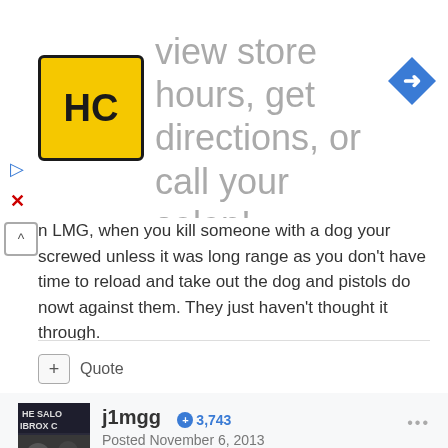[Figure (screenshot): Advertisement banner with HC logo and text 'view store hours, get directions, or call your salon!' with a blue navigation arrow icon]
n LMG, when you kill someone with a dog your screwed unless it was long range as you don't have time to reload and take out the dog and pistols do nowt against them. They just haven't thought it through.
+ Quote
j1mgg  3,743
Posted November 6, 2013

I think it is calmer, the last one every corner you tan round there was someone. This one you kill someone, take a few seconds, and the go hunting again. Not had any server issues and must if been on a good few hours, noticed the odd person lag, but